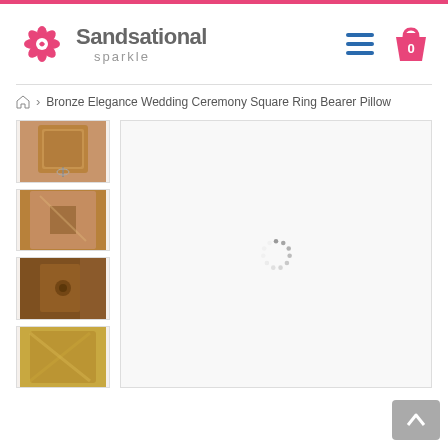[Figure (logo): Sandsational Sparkle logo with pink swirl flower icon and gray text]
Bronze Elegance Wedding Ceremony Square Ring Bearer Pillow
[Figure (photo): Thumbnail 1: Bronze/copper square ring bearer pillow, full view with ribbon]
[Figure (photo): Thumbnail 2: Bronze pillow close-up showing satin fabric and ribbon detail]
[Figure (photo): Thumbnail 3: Bronze pillow corner close-up with knotted ribbon]
[Figure (photo): Thumbnail 4: Gold/bronze pillow side view]
[Figure (photo): Main product image area showing loading spinner (image loading)]